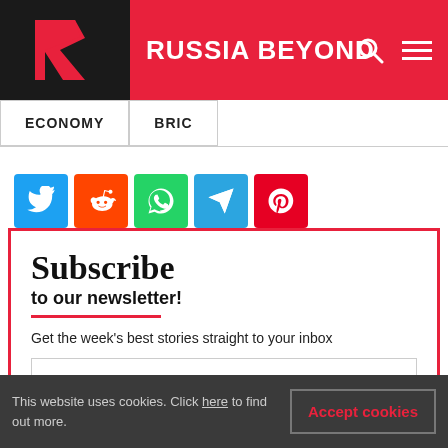RUSSIA BEYOND
ECONOMY
BRIC
[Figure (infographic): Social share buttons: Twitter, Reddit, WhatsApp, Telegram, Pinterest]
Subscribe to our newsletter!
Get the week's best stories straight to your inbox
Enter your email
This website uses cookies. Click here to find out more. Accept cookies